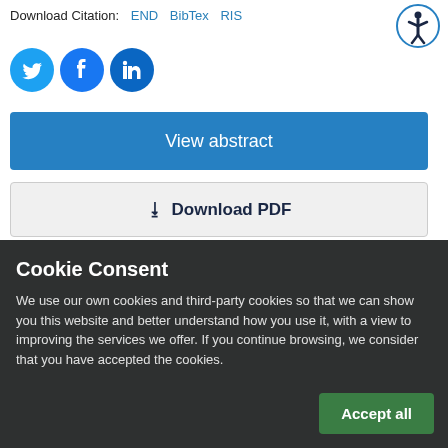Download Citation: END   BibTex   RIS
[Figure (other): Social sharing icons: Twitter, Facebook, LinkedIn circular icons in blue]
View abstract
⬇ Download PDF
⬇ Download XML
Cookie Consent
We use our own cookies and third-party cookies so that we can show you this website and better understand how you use it, with a view to improving the services we offer. If you continue browsing, we consider that you have accepted the cookies.
Accept all